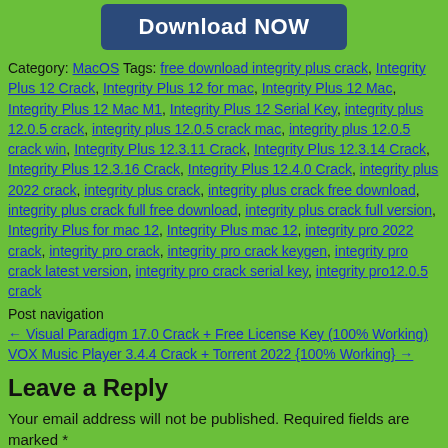[Figure (other): Download NOW button with dark blue background and white text]
Category: MacOS Tags: free download integrity plus crack, Integrity Plus 12 Crack, Integrity Plus 12 for mac, Integrity Plus 12 Mac, Integrity Plus 12 Mac M1, Integrity Plus 12 Serial Key, integrity plus 12.0.5 crack, integrity plus 12.0.5 crack mac, integrity plus 12.0.5 crack win, Integrity Plus 12.3.11 Crack, Integrity Plus 12.3.14 Crack, Integrity Plus 12.3.16 Crack, Integrity Plus 12.4.0 Crack, integrity plus 2022 crack, integrity plus crack, integrity plus crack free download, integrity plus crack full free download, integrity plus crack full version, Integrity Plus for mac 12, Integrity Plus mac 12, integrity pro 2022 crack, integrity pro crack, integrity pro crack keygen, integrity pro crack latest version, integrity pro crack serial key, integrity pro12.0.5 crack
Post navigation
← Visual Paradigm 17.0 Crack + Free License Key (100% Working) VOX Music Player 3.4.4 Crack + Torrent 2022 {100% Working} →
Leave a Reply
Your email address will not be published. Required fields are marked *